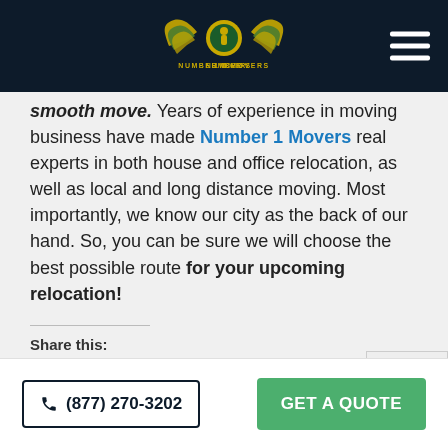Number 1 Movers logo and navigation
smooth move. Years of experience in moving business have made Number 1 Movers real experts in both house and office relocation, as well as local and long distance moving. Most importantly, we know our city as the back of our hand. So, you can be sure we will choose the best possible route for your upcoming relocation!
Share this:
[Figure (logo): Twitter and Facebook social share icons]
(877) 270-3202  GET A QUOTE